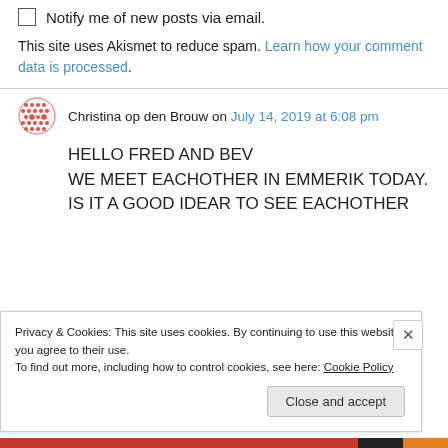Notify me of new posts via email.
This site uses Akismet to reduce spam. Learn how your comment data is processed.
Christina op den Brouw on July 14, 2019 at 6:08 pm
HELLO FRED AND BEV
WE MEET EACHOTHER IN EMMERIK TODAY.
IS IT A GOOD IDEAR TO SEE EACHOTHER
Privacy & Cookies: This site uses cookies. By continuing to use this website, you agree to their use.
To find out more, including how to control cookies, see here: Cookie Policy